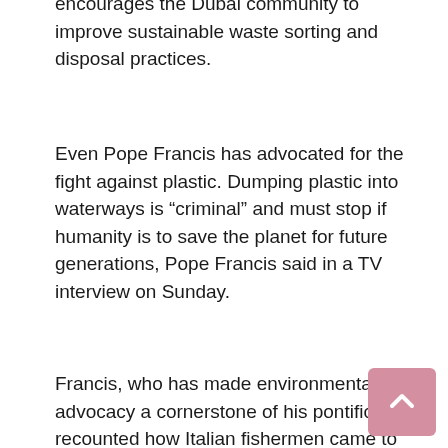encourages the Dubai community to improve sustainable waste sorting and disposal practices.
Even Pope Francis has advocated for the fight against plastic. Dumping plastic into waterways is “criminal” and must stop if humanity is to save the planet for future generations, Pope Francis said in a TV interview on Sunday.
Francis, who has made environmental advocacy a cornerstone of his pontificate, recounted how Italian fishermen came to him one year and told him they had found several tons of plastic in the Adriatic Sea. The next time he saw them, they said they had found twice as many and took it upon themselves to help clear some of them.